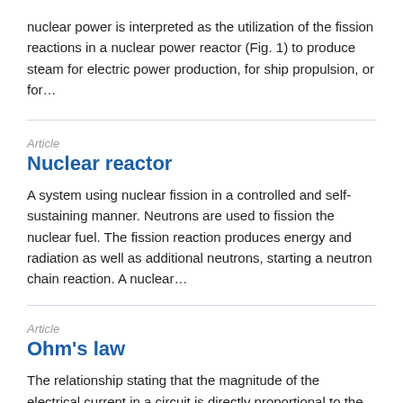nuclear power is interpreted as the utilization of the fission reactions in a nuclear power reactor (Fig. 1) to produce steam for electric power production, for ship propulsion, or for…
Article
Nuclear reactor
A system using nuclear fission in a controlled and self-sustaining manner. Neutrons are used to fission the nuclear fuel. The fission reaction produces energy and radiation as well as additional neutrons, starting a neutron chain reaction. A nuclear…
Article
Ohm's law
The relationship stating that the magnitude of the electrical current in a circuit is directly proportional to the applied voltage and inversely proportional to the circuit's resistance. One of the simplest and most intuitive electrical laws, Ohm's…